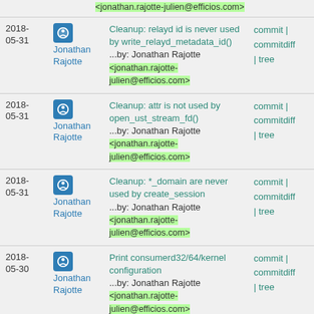| Date | Author | Commit message | Links |
| --- | --- | --- | --- |
| 2018-05-31 | Jonathan Rajotte | Cleanup: relayd id is never used by write_relayd_metadata_id()
...by: Jonathan Rajotte <jonathan.rajotte-julien@efficios.com> | commit | commitdiff | tree |
| 2018-05-31 | Jonathan Rajotte | Cleanup: attr is not used by open_ust_stream_fd()
...by: Jonathan Rajotte <jonathan.rajotte-julien@efficios.com> | commit | commitdiff | tree |
| 2018-05-31 | Jonathan Rajotte | Cleanup: *_domain are never used by create_session
...by: Jonathan Rajotte <jonathan.rajotte-julien@efficios.com> | commit | commitdiff | tree |
| 2018-05-30 | Jonathan Rajotte | Print consumerd32/64/kernel configuration
...by: Jonathan Rajotte <jonathan.rajotte-julien@efficios.com> | commit | commitdiff | tree |
| 2018-05-26 | Jonathan Rajotte | mi: support "add-context --list"
...by: Jonathan Rajotte <jonathan.rajotte-julien@efficios.com> | commit | commitdiff | tree |
| 2018- | Jonathan Rajotte | Fix: cmd line options overwrite env... | commit | |